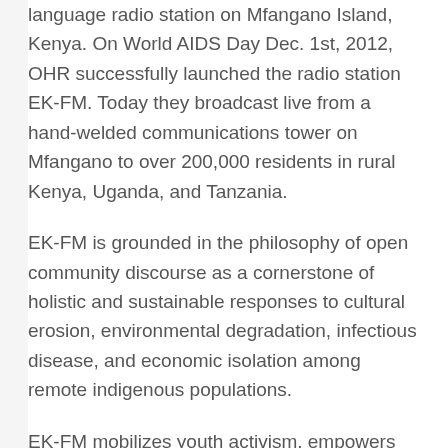language radio station on Mfangano Island, Kenya. On World AIDS Day Dec. 1st, 2012, OHR successfully launched the radio station EK-FM. Today they broadcast live from a hand-welded communications tower on Mfangano to over 200,000 residents in rural Kenya, Uganda, and Tanzania.
EK-FM is grounded in the philosophy of open community discourse as a cornerstone of holistic and sustainable responses to cultural erosion, environmental degradation, infectious disease, and economic isolation among remote indigenous populations.
EK-FM mobilizes youth activism, empowers marginalized groups, promotes HIV prevention and treatment services, encourages sustainable agriculture, and most importantly, preserves the endangered indigenous Suba language (Olusuba). EK-FM has had a very impactful first